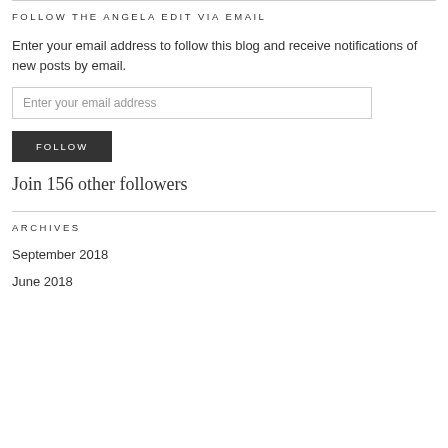FOLLOW THE ANGELA EDIT VIA EMAIL
Enter your email address to follow this blog and receive notifications of new posts by email.
Enter your email address
FOLLOW
Join 156 other followers
ARCHIVES
September 2018
June 2018